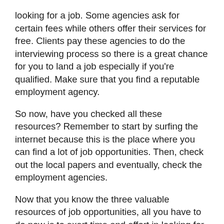looking for a job. Some agencies ask for certain fees while others offer their services for free. Clients pay these agencies to do the interviewing process so there is a great chance for you to land a job especially if you're qualified. Make sure that you find a reputable employment agency.
So now, have you checked all these resources? Remember to start by surfing the internet because this is the place where you can find a lot of job opportunities. Then, check out the local papers and eventually, check the employment agencies.
Now that you know the three valuable resources of job opportunities, all you have to do now is to exert time and effort in looking for specific job employments and you can already find a career. With a bit of patience, hard work, and dedication, the accounting job that you've dreaming of will soon be a reality.
Good luck in finding an accounting job. Make a comprehensive resume so that your application is easily noticed. You see,